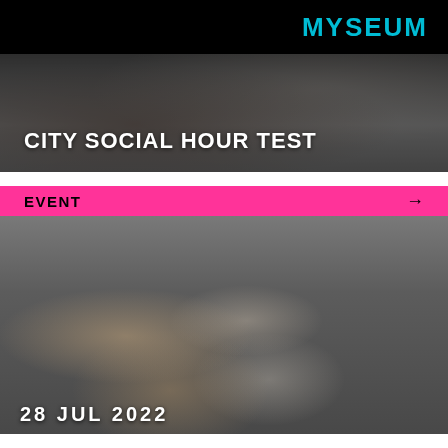MYSEUM
CITY SOCIAL HOUR TEST
EVENT
[Figure (photo): Black and white photo of two people at an event, a woman on the left looking to the side and a bald man with glasses on the right, at a social gathering]
28 JUL 2022